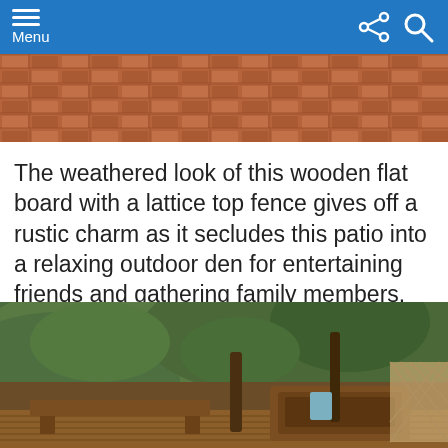Menu
[Figure (photo): Close-up of a herringbone-pattern brick patio surface in reddish-brown tones]
The weathered look of this wooden flat board with a lattice top fence gives off a rustic charm as it secludes this patio into a relaxing outdoor den for entertaining friends and gathering family members.
[Figure (photo): Outdoor wooden deck with a hot tub, surrounded by lush green hillside vegetation and lattice fencing]